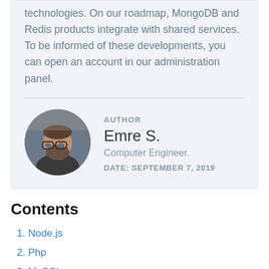technologies. On our roadmap, MongoDB and Redis products integrate with shared services. To be informed of these developments, you can open an account in our administration panel.
[Figure (photo): Circular profile photo of a bearded man wearing glasses, in an indoor setting.]
AUTHOR
Emre S.
Computer Engineer.
DATE: SEPTEMBER 7, 2019
Contents
1. Node.js
2. Php
3. MySQL
4. Road map